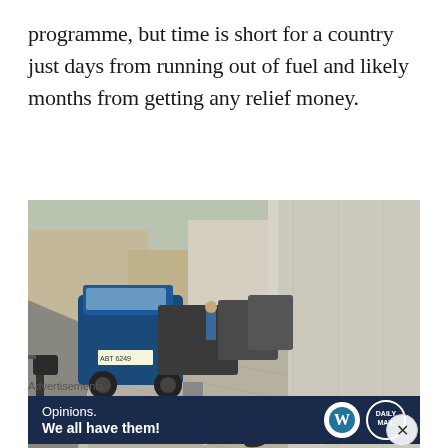programme, but time is short for a country just days from running out of fuel and likely months from getting any relief money.
[Figure (photo): Street scene showing motorcycles and auto-rickshaws (tuk-tuks) parked along a narrow urban sidewalk next to a white wall. A person lies on a cot/stretcher on the pavement in the foreground. License plate 'ABT 6249' visible on blue tuk-tuk.]
Advertisements
[Figure (other): Advertisement banner with dark navy background. Text reads 'Opinions. We all have them!' with WordPress logo and another circular logo on the right.]